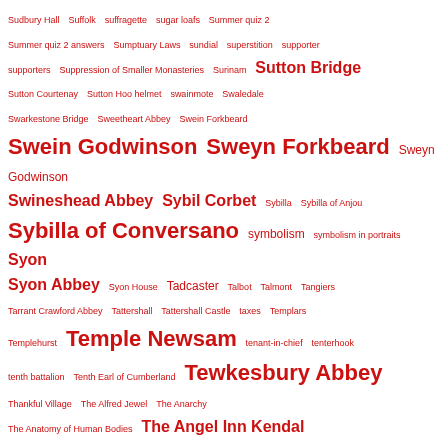Sudbury Hall Suffolk suffragette sugar loafs Summer quiz 2 Summer quiz 2 answers Sumptuary Laws sundial superstition supporter supporters Suppression of Smaller Monasteries Surinam Sutton Bridge Sutton Courtenay Sutton Hoo helmet swainmote Swaledale Swarkestone Bridge Sweetheart Abbey Swein Forkbeard Swein Godwinson Sweyn Forkbeard Sweyn Godwinson Swineshead Abbey Sybil Corbet Sybilla Sybilla of Anjou Sybilla of Conversano symbolism symbolism in portraits Syon Syon Abbey Syon House Tadcaster Talbot Talmont Tangiers Tarrant Crawford Abbey Tattershall Tattershall Castle taxes Templars Templehurst Temple Newsam tenant-in-chief tenterhook tenth battalion Tenth Earl of Cumberland Tewkesbury Abbey Thankful Village The Alfred Jewel The Anarchy The Anatomy of Human Bodies The Angel Inn Kendal The Anglia Historia the Army Plot The Arrival of King Edward IV The Ashmole Bestiary The Bachelor Duke The Bakewell Witches the Battle of Solway Moss The Battle of the Spurs The Bayeux Tapestry the Beaufort yale The Berkeley Feud